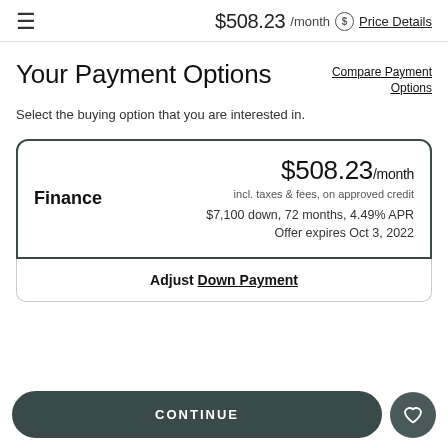$508.23 /month  Price Details
Your Payment Options
Compare Payment Options
Select the buying option that you are interested in.
| Finance | $508.23/month | incl. taxes & fees, on approved credit | $7,100 down, 72 months, 4.49% APR | Offer expires Oct 3, 2022 |
Adjust Down Payment
CONTINUE